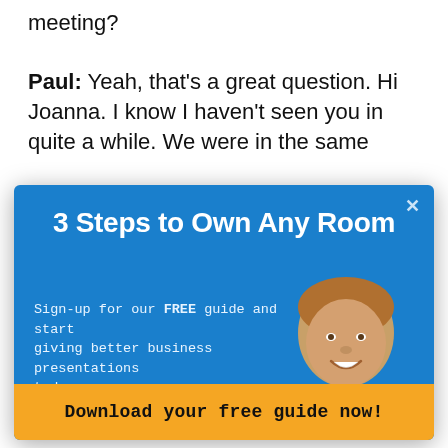meeting?
Paul: Yeah, that's a great question. Hi Joanna. I know I haven't seen you in quite a while. We were in the same
[Figure (screenshot): Modal popup overlay with blue background titled '3 Steps to Own Any Room'. Contains sign-up form with First Name, Last Name, and Email fields. A photo of a smiling middle-aged man in a dark suit and red tie appears on the right. A yellow 'Download your free guide now!' button appears at the bottom. An X close button is in the top right corner.]